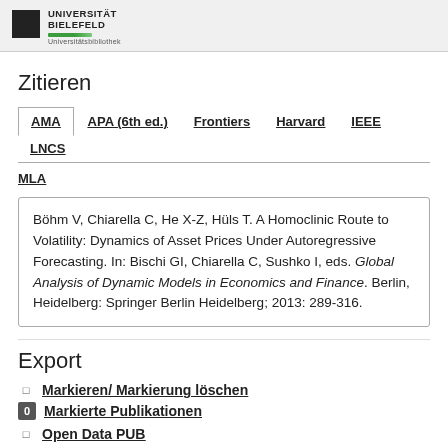[Figure (logo): Universität Bielefeld Universitätsbibliothek logo with black square and green bar]
Zitieren
AMA | APA (6th ed.) | Frontiers | Harvard | IEEE | LNCS | MLA
Böhm V, Chiarella C, He X-Z, Hüls T. A Homoclinic Route to Volatility: Dynamics of Asset Prices Under Autoregressive Forecasting. In: Bischi GI, Chiarella C, Sushko I, eds. Global Analysis of Dynamic Models in Economics and Finance. Berlin, Heidelberg: Springer Berlin Heidelberg; 2013: 289-316.
Export
Markieren/ Markierung löschen
Markierte Publikationen
Open Data PUB
Suchen in